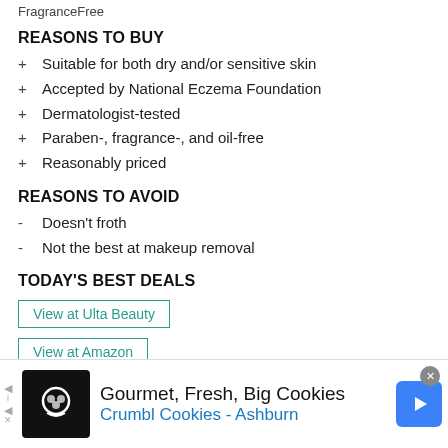FragranceFree
REASONS TO BUY
+ Suitable for both dry and/or sensitive skin
+ Accepted by National Eczema Foundation
+ Dermatologist-tested
+ Paraben-, fragrance-, and oil-free
+ Reasonably priced
REASONS TO AVOID
- Doesn't froth
- Not the best at makeup removal
TODAY'S BEST DEALS
View at Ulta Beauty
View at Amazon
[Figure (other): Advertisement banner: Gourmet, Fresh, Big Cookies — Crumbl Cookies - Ashburn]